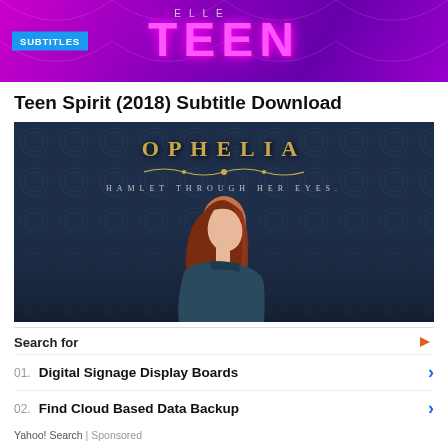[Figure (illustration): Banner image with purple/magenta gradient background showing 'TEEN' text in large pink neon letters with 'ELLE' above it and a 'SUBTITLES' badge on the left]
Teen Spirit (2018) Subtitle Download
[Figure (photo): Movie poster for Ophelia. Dark navy blue background with damask wallpaper pattern. Gold ornate title text 'OPHELIA' at top. Subtitle 'HAMLET THROUGH HER EYES.' in small caps. A young woman with long auburn red hair in profile, wearing a dark teal/blue velvet dress, looking downward.]
Search for
01. Digital Signage Display Boards
02. Find Cloud Based Data Backup
Yahoo! Search | Sponsored